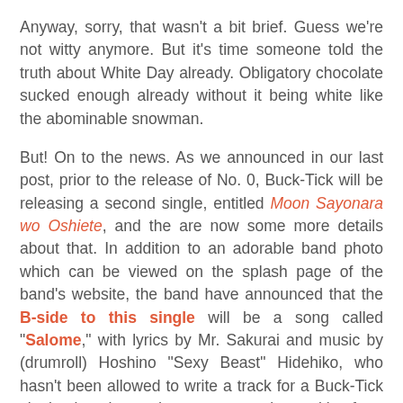Anyway, sorry, that wasn't a bit brief. Guess we're not witty anymore. But it's time someone told the truth about White Day already. Obligatory chocolate sucked enough already without it being white like the abominable snowman.
But! On to the news. As we announced in our last post, prior to the release of No. 0, Buck-Tick will be releasing a second single, entitled Moon Sayonara wo Oshiete, and the are now some more details about that. In addition to an adorable band photo which can be viewed on the splash page of the band's website, the band have announced that the B-side to this single will be a song called "Salome," with lyrics by Mr. Sakurai and music by (drumroll) Hoshino "Sexy Beast" Hidehiko, who hasn't been allowed to write a track for a Buck-Tick single since he made more money in royalties from "Dress" and "Jupiter" than Imai ever made in his whole life since "Love Parade" in 2013. Not only that, but the last single track Hide wrote that actually made it onto an album was "Yougetsu," the B-side of Kuchizuke, which was released in 2010. Not only that, but the last time Hide wrote the A-side for a Buck-Tick single was "Gensou no Hana," released in 2003, and kids, 2003 was a whole 14 years ago